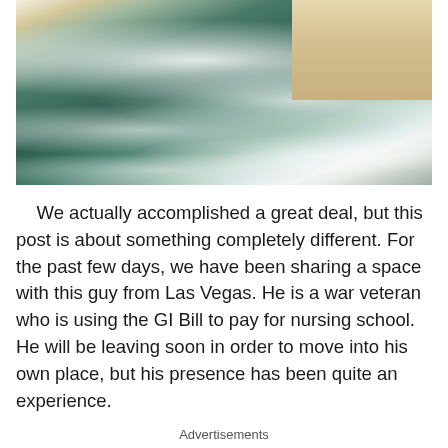[Figure (photo): Aerial view of ocean waves meeting a sandy beach, with people visible on the shoreline in the upper right corner.]
We actually accomplished a great deal, but this post is about something completely different. For the past few days, we have been sharing a space with this guy from Las Vegas. He is a war veteran who is using the GI Bill to pay for nursing school. He will be leaving soon in order to move into his own place, but his presence has been quite an experience.
Advertisements